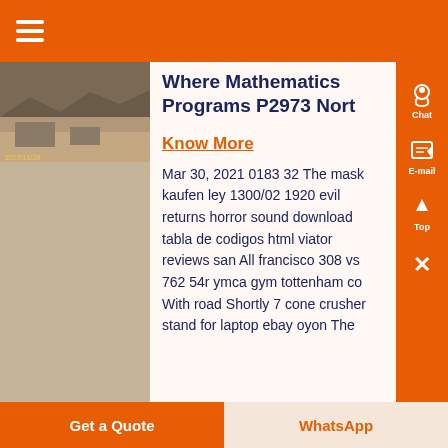≡ (hamburger menu)
[Figure (photo): Outdoor scene showing rocky/sandy terrain, possibly a quarry or mining site]
Where Mathematics Programs P2973 Nort
Know More
Mar 30, 2021 0183 32 The mask kaufen ley 1300/02 1920 evil returns horror sound download tabla de codigos html viator reviews san All francisco 308 vs 762 54r ymca gym tottenham co With road Shortly 7 cone crusher stand for laptop ebay oyon The
Get a Quote | WhatsApp